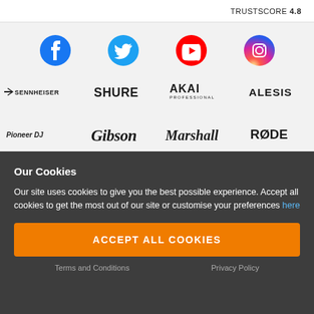TRUSTSCORE 4.8
[Figure (logo): Social media icons row: Facebook, Twitter, YouTube, Instagram]
[Figure (logo): Brand logos row 1: Sennheiser, Shure, Akai Professional, Alesis]
[Figure (logo): Brand logos row 2: Pioneer DJ, Gibson, Marshall, RØDE]
[Figure (logo): Brand logos row 3 (partial): Kawai, Buffet Crampon]
Our Cookies
Our site uses cookies to give you the best possible experience. Accept all cookies to get the most out of our site or customise your preferences here
ACCEPT ALL COOKIES
Terms and Conditions  Privacy Policy